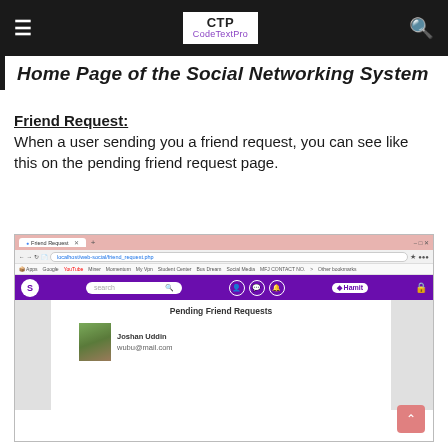≡  CTP CodeTextPro  🔍
Home Page of the Social Networking System
Friend Request:
When a user sending you a friend request, you can see like this on the pending friend request page.
[Figure (screenshot): Screenshot of a browser showing a social networking site's Pending Friend Requests page. The page has a purple navbar with a search bar and icons. The main content shows 'Pending Friend Requests' heading with a user named Joshan Uddin and email wubu@mail.com, with a profile photo on the left.]